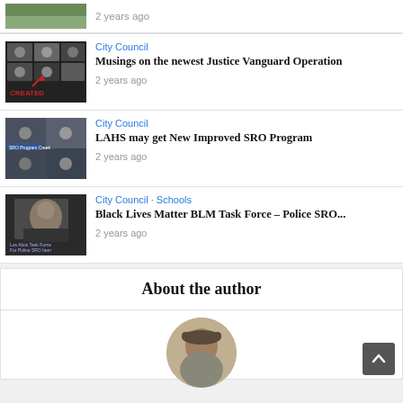[Figure (photo): Partial landscape/nature thumbnail at top]
2 years ago
[Figure (screenshot): City council video call thumbnail with people in grid view and CREATED overlay]
City Council
Musings on the newest Justice Vanguard Operation
2 years ago
[Figure (screenshot): City council video call thumbnail with SRO Program Creek label]
City Council
LAHS may get New Improved SRO Program
2 years ago
[Figure (photo): Person speaking, Los Altos Task Force Program text overlay]
City Council · Schools
Black Lives Matter BLM Task Force – Police SRO...
2 years ago
About the author
[Figure (photo): Author portrait photo, person wearing a hat]